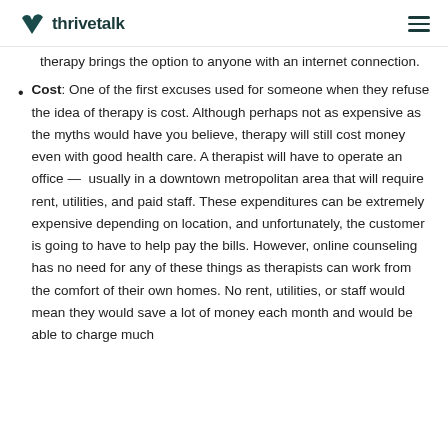thrivetalk
therapy brings the option to anyone with an internet connection.
Cost: One of the first excuses used for someone when they refuse the idea of therapy is cost. Although perhaps not as expensive as the myths would have you believe, therapy will still cost money even with good health care. A therapist will have to operate an office — usually in a downtown metropolitan area that will require rent, utilities, and paid staff. These expenditures can be extremely expensive depending on location, and unfortunately, the customer is going to have to help pay the bills. However, online counseling has no need for any of these things as therapists can work from the comfort of their own homes. No rent, utilities, or staff would mean they would save a lot of money each month and would be able to charge much